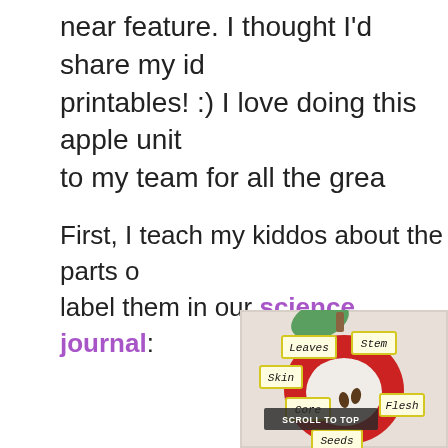near feature. I thought I'd share my id... printables! :) I love doing this apple unit... to my team for all the grea...
First, I teach my kiddos about the parts o... label them in our science journal:
[Figure (photo): Photo of a science journal page showing a cut apple diagram with labeled parts: Leaves, Stem, Skin, Core, Flesh, Seeds — labels are small cards with yellow borders placed on a red apple illustration.]